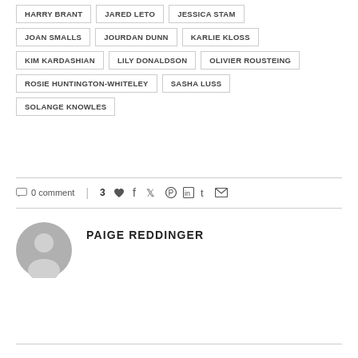HARRY BRANT
JARED LETO
JESSICA STAM
JOAN SMALLS
JOURDAN DUNN
KARLIE KLOSS
KIM KARDASHIAN
LILY DONALDSON
OLIVIER ROUSTEING
ROSIE HUNTINGTON-WHITELEY
SASHA LUSS
SOLANGE KNOWLES
0 comment | 3 ♥ (social share icons)
PAIGE REDDINGER